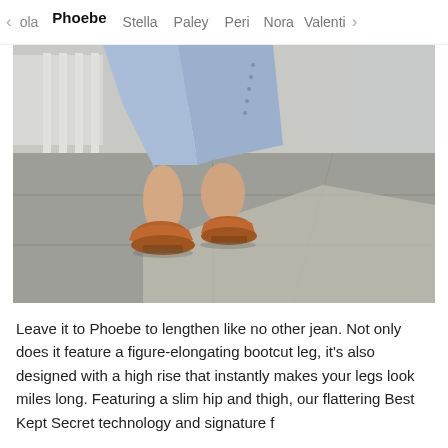< ola  Phoebe  Stella  Paley  Peri  Nora  Valenti >
[Figure (photo): Close-up photo of a person wearing light blue cropped frayed denim jeans and tan/cognac leather mule shoes, walking on a concrete floor with a white chair visible in the background.]
Leave it to Phoebe to lengthen like no other jean. Not only does it feature a figure-elongating bootcut leg, it's also designed with a high rise that instantly makes your legs look miles long. Featuring a slim hip and thigh, our flattering Best Kept Secret technology and signature f...